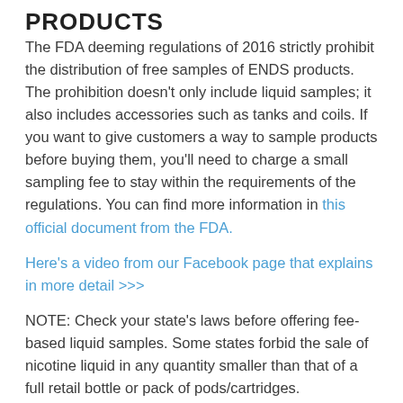PRODUCTS
The FDA deeming regulations of 2016 strictly prohibit the distribution of free samples of ENDS products. The prohibition doesn't only include liquid samples; it also includes accessories such as tanks and coils. If you want to give customers a way to sample products before buying them, you'll need to charge a small sampling fee to stay within the requirements of the regulations. You can find more information in this official document from the FDA.
Here's a video from our Facebook page that explains in more detail >>>
NOTE: Check your state's laws before offering fee-based liquid samples. Some states forbid the sale of nicotine liquid in any quantity smaller than that of a full retail bottle or pack of pods/cartridges.